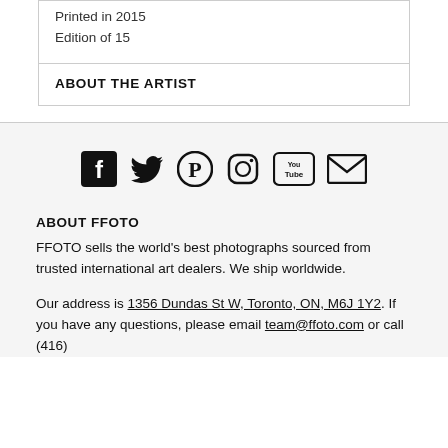Printed in 2015
Edition of 15
ABOUT THE ARTIST
[Figure (infographic): Social media icons: Facebook, Twitter, Pinterest, Instagram, YouTube, Email]
ABOUT FFOTO
FFOTO sells the world's best photographs sourced from trusted international art dealers. We ship worldwide.
Our address is 1356 Dundas St W, Toronto, ON, M6J 1Y2. If you have any questions, please email team@ffoto.com or call (416)